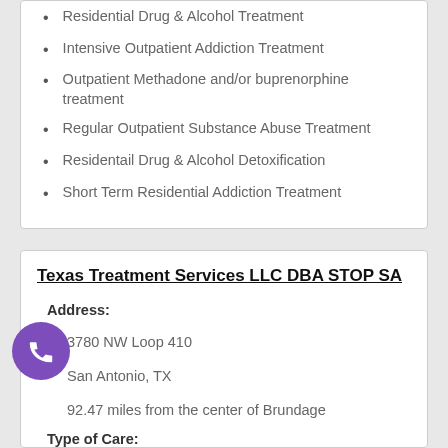Residential Drug & Alcohol Treatment
Intensive Outpatient Addiction Treatment
Outpatient Methadone and/or buprenorphine treatment
Regular Outpatient Substance Abuse Treatment
Residentail Drug & Alcohol Detoxification
Short Term Residential Addiction Treatment
Texas Treatment Services LLC DBA STOP SA
Address:
3780 NW Loop 410
San Antonio, TX
92.47 miles from the center of Brundage
Type of Care:
Substance Abuse Treatment